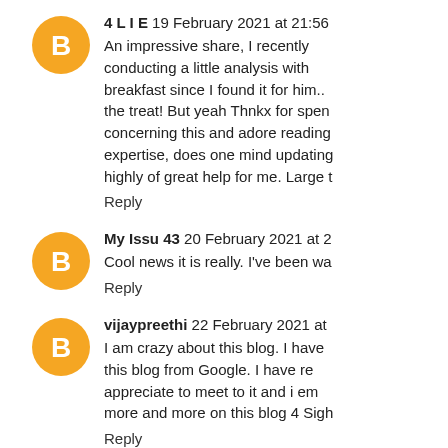4 L I E  19 February 2021 at 21:56
An impressive share, I recently conducting a little analysis with breakfast since I found it for him.. the treat! But yeah Thnkx for spen concerning this and adore reading expertise, does one mind updating highly of great help for me. Large t
Reply
My Issu 43  20 February 2021 at 2
Cool news it is really. I've been wa
Reply
vijaypreethi  22 February 2021 at
I am crazy about this blog. I have this blog from Google. I have re appreciate to meet to it and i em more and more on this blog 4 Sigh
Reply